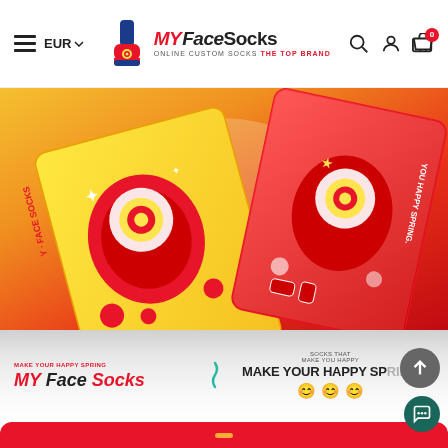MY Face Socks — ONLINE CUSTOM SOCKS THE TOP BRAND | EUR | Navigation | Search | Account | Cart 0
[Figure (photo): Hero banner showing colorful custom sock boxes in yellow and red with cartoon character designs, floating on an orange-red gradient background. Text on red box reads 'YOU HAPPY SPRING'.]
[Figure (screenshot): Website section below hero with 'MAKE YOUR HAPPY SPRING / MY Face Socks' on the left and 'SOCKS THAT MAKE YOU HAPPY / MAKE YOUR HAPPY SPRING' with emoji decorations on the right, on a light grey/white gradient background.]
[Figure (photo): Bottom red rounded strip partially visible, indicating further page content below.]